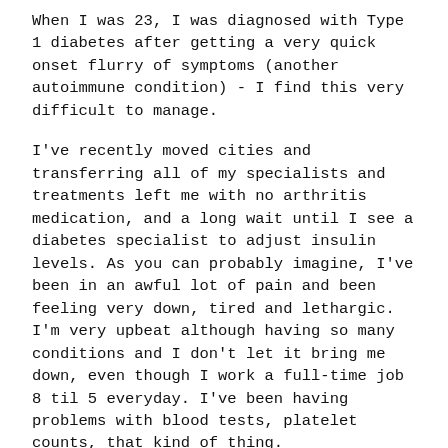When I was 23, I was diagnosed with Type 1 diabetes after getting a very quick onset flurry of symptoms (another autoimmune condition) - I find this very difficult to manage.
I've recently moved cities and transferring all of my specialists and treatments left me with no arthritis medication, and a long wait until I see a diabetes specialist to adjust insulin levels. As you can probably imagine, I've been in an awful lot of pain and been feeling very down, tired and lethargic. I'm very upbeat although having so many conditions and I don't let it bring me down, even though I work a full-time job 8 til 5 everyday. I've been having problems with blood tests, platelet counts, that kind of thing.
I was aware that I had the antibodies for Hypothyroidism as I had the test for that about a year ago and I knew it was just a matter of time before I developed it. Upon my most recent blood